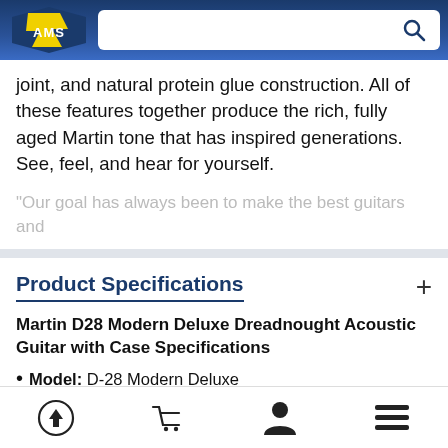AMS logo and search bar
joint, and natural protein glue construction. All of these features together produce the rich, fully aged Martin tone that has inspired generations. See, feel, and hear for yourself.
"Our goal has always been to make the best guitars and
Product Specifications
Martin D28 Modern Deluxe Dreadnought Acoustic Guitar with Case Specifications
Model: D-28 Modern Deluxe